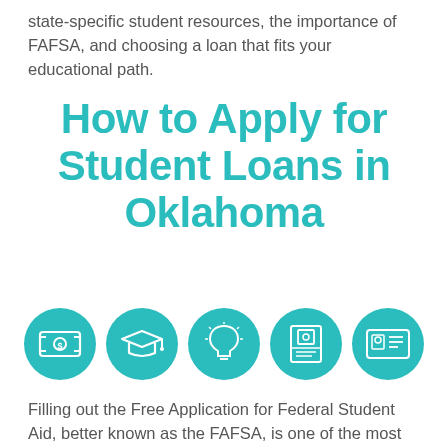state-specific student resources, the importance of FAFSA, and choosing a loan that fits your educational path.
How to Apply for Student Loans in Oklahoma
[Figure (infographic): Five teal circular icons representing: money/dollar bill, graduation cap, light bulb, book/floppy disk, and ID card/certificate]
Filling out the Free Application for Federal Student Aid, better known as the FAFSA, is one of the most